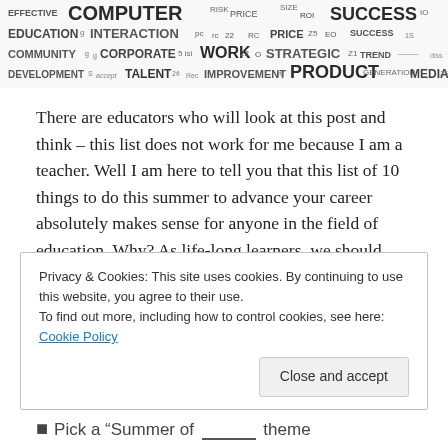[Figure (infographic): Word cloud containing education and career-related terms such as COMPUTER, SUCCESS, EDUCATION, INTERACTION, PRICE, COMMUNITY, CORPORATE, WORK, STRATEGIC, TREND, DEVELOPMENT, TALENT, IMPROVEMENT, PRODUCT, GENERATION, MEDIA in varying sizes and shades of gray/dark.]
There are educators who will look at this post and think – this list does not work for me because I am a teacher. Well I am here to tell you that this list of 10 things to do this summer to advance your career absolutely makes sense for anyone in the field of education. Why? As life-long learners, we should always look for ways to “have a measurable impact on our careers.” J.T. O’Donnell, CEO of Careerealism, provides practical suggestions on
Privacy & Cookies: This site uses cookies. By continuing to use this website, you agree to their use.
To find out more, including how to control cookies, see here: Cookie Policy
Pick a “Summer of ___” theme